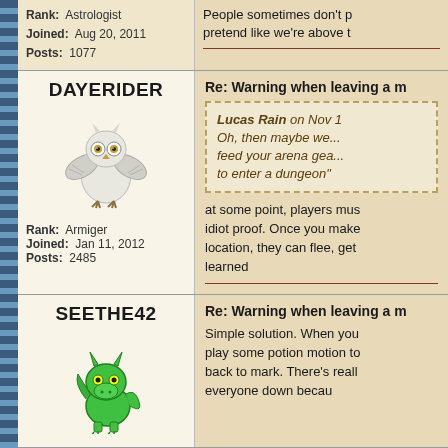Rank: Astrologist
Joined: Aug 20, 2011
Posts: 1077
People sometimes don't p... pretend like we're above t...
DAYERIDER
[Figure (illustration): Cartoon white owl with wings spread, pixel art style]
Rank: Armiger
Joined: Jan 11, 2012
Posts: 2485
Re: Warning when leaving a m...
Lucas Rain on Nov 1...
Oh, then maybe we ... feed your arena gea... to enter a dungeon"...
at some point, players mus... idiot proof. Once you make... location, they can flee, get... learned
SEETHE42
[Figure (illustration): Green cartoon dragon character, pixel art style]
Re: Warning when leaving a m...
Simple solution. When you... play some potion motion to... back to mark. There's reall... everyone down becau...